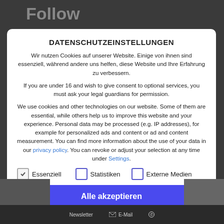Follow
DATENSCHUTZEINSTELLUNGEN
Wir nutzen Cookies auf unserer Website. Einige von ihnen sind essenziell, während andere uns helfen, diese Website und Ihre Erfahrung zu verbessern.
If you are under 16 and wish to give consent to optional services, you must ask your legal guardians for permission.
We use cookies and other technologies on our website. Some of them are essential, while others help us to improve this website and your experience. Personal data may be processed (e.g. IP addresses), for example for personalized ads and content or ad and content measurement. You can find more information about the use of your data in our privacy policy. You can revoke or adjust your selection at any time under Settings.
Essenziell
Statistiken
Externe Medien
Alle akzeptieren
Speichern
Newsletter    E-Mail